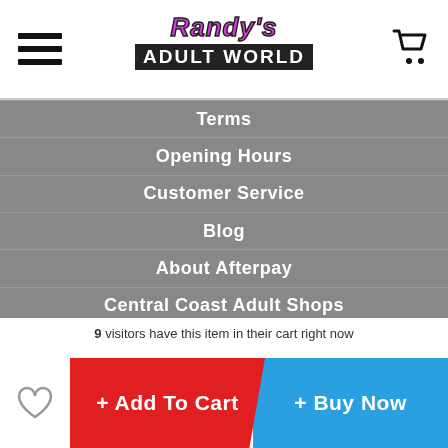[Figure (logo): Randy's Adult World logo with pink italic text and black banner]
Terms
Opening Hours
Customer Service
Blog
About Afterpay
Central Coast Adult Shops
9 visitors have this item in their cart right now
+ Add To Cart
+ Buy Now